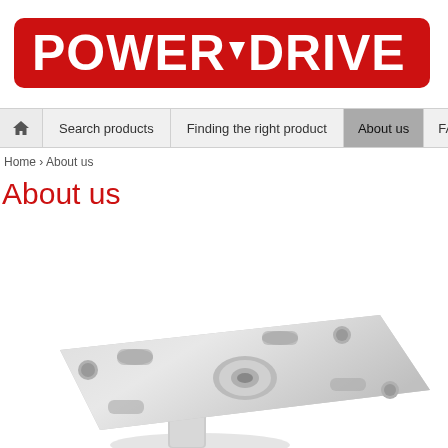[Figure (logo): PowerDrive logo — white bold text on red rounded rectangle background, with a downward chevron/V mark between POWER and DRIVE]
Home › About us
About us
[Figure (photo): Close-up photo of a silver/grey metal mounting bracket plate with slots and holes, viewed from an angle, on a white background]